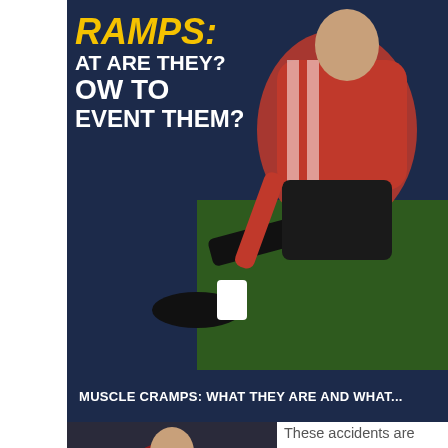[Figure (photo): Soccer/football player in red Adidas jersey stretching on a field, with dark blue overlay text about muscle cramps]
MUSCLE CRAMPS: WHAT THEY ARE AND WHAT...
[Figure (photo): Soccer player in maroon jersey holding leg in pain on field, with text overlay: FUNCTIONAL MUSCLE INJURIES HOW TO RECOGNIZE THEM AND WHAT TO DO?]
These accidents are milder than sprains and strains but they are also more frequent: what to do in such cases?
[Figure (photo): Soccer player on ground with ankle injury, with green text overlay: SPRAINED ANKLE]
What should you do in case of ankle sprain? The physiotherapist's advice